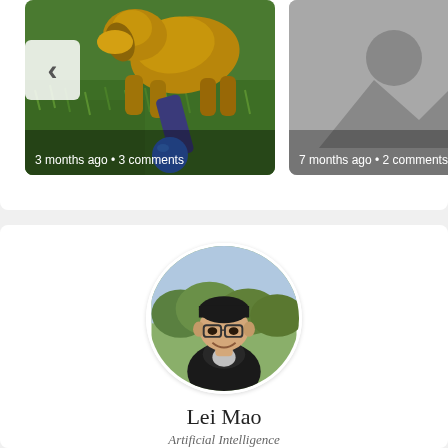[Figure (photo): Photo of a dog with a person playing with a blue ball on green grass, with a left navigation arrow. Caption reads: 3 months ago • 3 comments]
3 months ago • 3 comments
[Figure (photo): Placeholder image (grey with image icon) with a right navigation arrow. Caption reads: 7 months ago • 2 comments]
7 months ago • 2 comments
[Figure (photo): Circular profile photo of Lei Mao, a young man wearing glasses, smiling, outdoors with trees in the background.]
Lei Mao
Artificial Intelligence